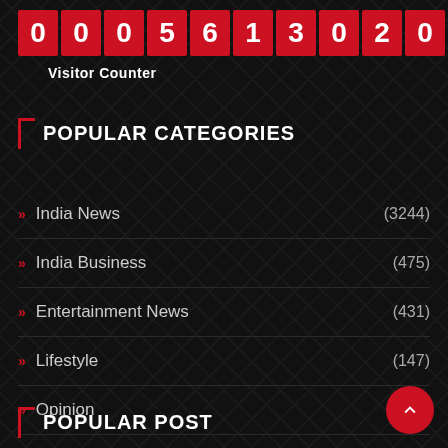[Figure (other): Visitor counter display showing digits 0 0 0 5 6 1 3 0 2 0 on red tiles]
Visitor Counter
POPULAR CATEGORIES
India News (3244)
India Business (475)
Entertainment News (431)
Lifestyle (147)
Opinion (21)
World News (901)
POPULAR POST